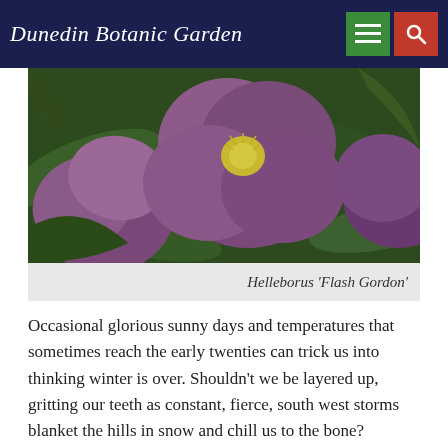Dunedin Botanic Garden
[Figure (photo): Close-up photograph of purple Helleborus 'Flash Gordon' flowers with green foliage in the background]
Helleborus 'Flash Gordon'
Occasional glorious sunny days and temperatures that sometimes reach the early twenties can trick us into thinking winter is over. Shouldn't we be layered up, gritting our teeth as constant, fierce, south west storms blanket the hills in snow and chill us to the bone?
Even though it seems strange to enjoy the winter season's plant highs during mild weather, this is when winter flowering plants bring particular